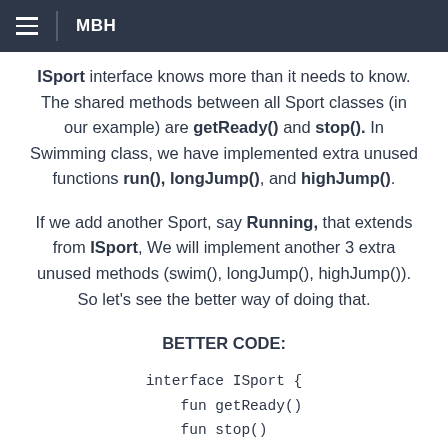MBH
ISport interface knows more than it needs to know. The shared methods between all Sport classes (in our example) are getReady() and stop(). In Swimming class, we have implemented extra unused functions run(), longJump(), and highJump().
If we add another Sport, say Running, that extends from ISport, We will implement another 3 extra unused methods (swim(), longJump(), highJump()). So let's see the better way of doing that.
BETTER CODE:
interface ISport {
    fun getReady()
    fun stop()
    }
interface ISRunning : ISport {